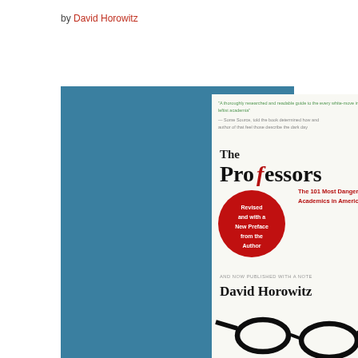by David Horowitz
[Figure (photo): Book cover of 'The Professors: The 101 Most Dangerous Academics in America' by David Horowitz, showing glasses on white background with red circular badge]
[Figure (photo): Book cover of 'Indoctrination U.: The Left's War Against Academic Freedom' by David Horowitz, showing a book/pencil on teal background]
[Figure (photo): Book cover partially visible: 'How Radical Professors at America's Top Colleges Indoctrinate Students and Undermine Our Democracy']